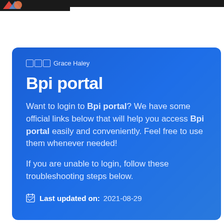[Figure (logo): Partial logo visible at top left, colorful icon on dark bar]
🔲🔲🔲 Grace Haley
Bpi portal
Want to login to Bpi portal? We have some official links below that will help you access Bpi portal easily and conveniently. Feel free to use them whenever needed!
If you are unable to login, follow these troubleshooting steps below.
Last updated on: 2021-08-29